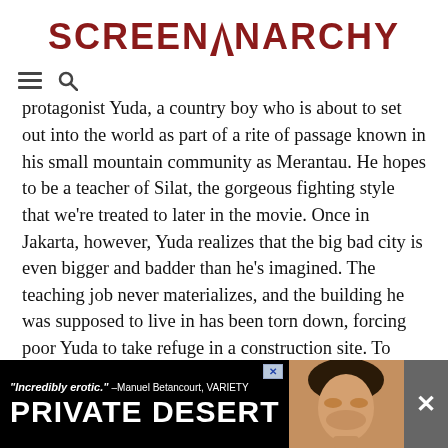SCREENANARCHY
protagonist Yuda, a country boy who is about to set out into the world as part of a rite of passage known in his small mountain community as Merantau. He hopes to be a teacher of Silat, the gorgeous fighting style that we're treated to later in the movie. Once in Jakarta, however, Yuda realizes that the big bad city is even bigger and badder than he's imagined. The teaching job never materializes, and the building he was supposed to live in has been torn down, forcing poor Yuda to take refuge in a construction site. To make matters worse, he soon gets tangled up in the plight of tiny pickpocketer Adit and his plucky sister Astri when he witnesses Astri's go-go club boss roughing her up. It is against Yuda's nature not to intervene, and this is where the film gets going in a ny just pl ng
[Figure (screenshot): Advertisement banner for 'Private Desert' film with quote 'Incredibly erotic.' —Manuel Betancourt, VARIETY and a close-up photo of a woman's face]